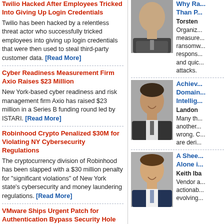Twilio Hacked After Employees Tricked Into Giving Up Login Credentials
Twilio has been hacked by a relentless threat actor who successfully tricked employees into giving up login credentials that were then used to steal third-party customer data. [Read More]
Cyber Readiness Measurement Firm Axio Raises $23 Million
New York-based cyber readiness and risk management firm Axio has raised $23 million in a Series B funding round led by ISTARI. [Read More]
Robinhood Crypto Penalized $30M for Violating NY Cybersecurity Regulations
The cryptocurrency division of Robinhood has been slapped with a $30 million penalty for "significant violations" of New York state's cybersecurity and money laundering regulations. [Read More]
VMware Ships Urgent Patch for Authentication Bypass Security Hole
VMware patches dangerous security flaw that allows malicious actor with network access to the UI to obtain administrative access without the need to authenticate. [Read More]
[Figure (photo): Headshot of Torsten, man in suit]
Why Ra... Than P...
Torsten
Organiz... measure... ransomw... respons... and quic... attacks.
[Figure (photo): Headshot of Landon, man smiling in suit]
Achiev... Domain... Intellig...
Landon
Many th... another... wrong. C... are deri...
[Figure (photo): Headshot of Keith Iba, man smiling in suit]
A Shee... Alone i...
Keith Iba
Vendor a... actionab... evolving...